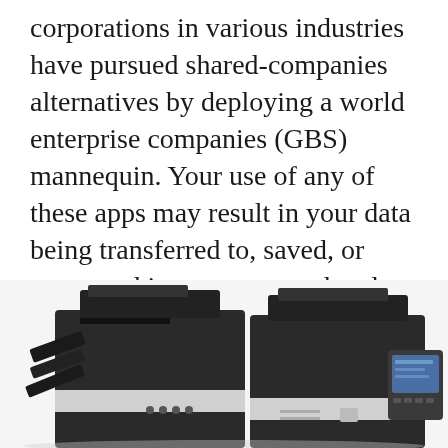corporations in various industries have pursued shared-companies alternatives by deploying a world enterprise companies (GBS) mannequin. Your use of any of these apps may result in your data being transferred to, saved, or processed in any country the place the app publisher, its associates, or service suppliers maintain facilities. Service plans for your Cisco Small Business merchandise present more support than a product guarantee.
[Figure (photo): Photo of two large black and white office multifunction printers/copiers side by side, with paper trays and control panels visible. A separate control panel/display unit is visible on the right side.]